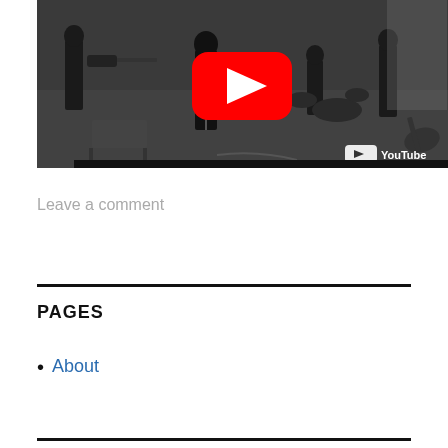[Figure (screenshot): YouTube video thumbnail showing a black and white photo of a band performing in a studio/room setting. Four musicians are visible: one playing bass guitar on the left, one in center foreground, a drummer in the back right, and another musician on the far right. The YouTube red play button overlay is centered on the image, and the YouTube logo appears in the bottom right corner.]
Leave a comment
PAGES
About